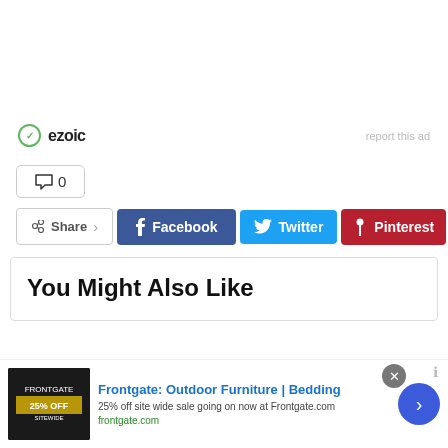[Figure (logo): Ezoic logo with green circle checkmark icon and 'ezoic' text, plus 'report this ad' link on the right]
💬 0
Share  Facebook  Twitter  Pinterest  +
You Might Also Like
[Figure (screenshot): Ad banner for Frontgate: Outdoor Furniture | Bedding. 25% off site wide sale going on now at Frontgate.com. frontgate.com]